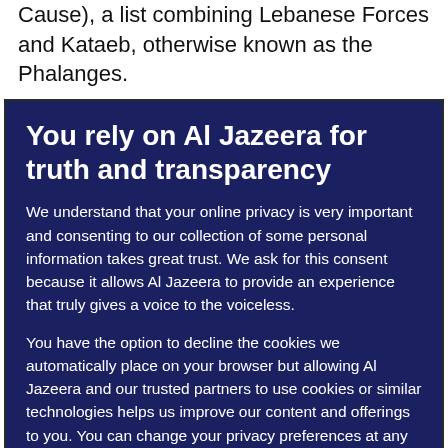Cause), a list combining Lebanese Forces and Kataeb, otherwise known as the Phalanges.
You rely on Al Jazeera for truth and transparency
We understand that your online privacy is very important and consenting to our collection of some personal information takes great trust. We ask for this consent because it allows Al Jazeera to provide an experience that truly gives a voice to the voiceless.
You have the option to decline the cookies we automatically place on your browser but allowing Al Jazeera and our trusted partners to use cookies or similar technologies helps us improve our content and offerings to you. You can change your privacy preferences at any time by selecting ‘Cookie preferences’ at the bottom of your screen. To learn more, please view our Cookie Policy.